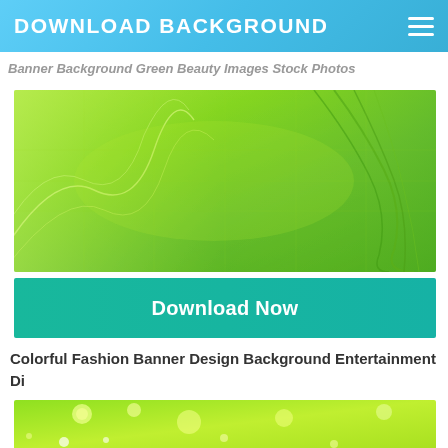DOWNLOAD BACKGROUND
Banner Background Green Beauty Images Stock Photos
[Figure (illustration): Green banner background with wavy light green flowing lines and mesh pattern on a gradient green background]
Download Now
Colorful Fashion Banner Design Background Entertainment Di
[Figure (illustration): Bright lime green background with soft glowing bokeh circles and dots of yellow-white light]